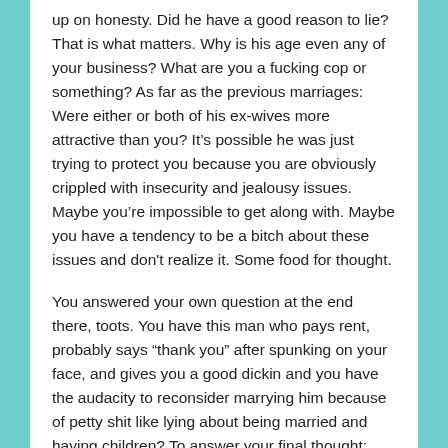up on honesty. Did he have a good reason to lie? That is what matters. Why is his age even any of your business? What are you a fucking cop or something? As far as the previous marriages: Were either or both of his ex-wives more attractive than you? It’s possible he was just trying to protect you because you are obviously crippled with insecurity and jealousy issues. Maybe you’re impossible to get along with. Maybe you have a tendency to be a bitch about these issues and don't realize it. Some food for thought.
You answered your own question at the end there, toots. You have this man who pays rent, probably says “thank you” after spunking on your face, and gives you a good dickin and you have the audacity to reconsider marrying him because of petty shit like lying about being married and having children? To answer your final thought: